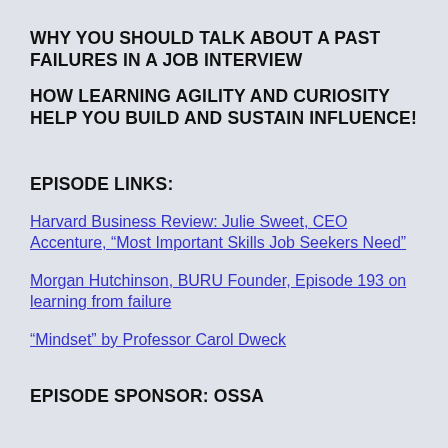WHY YOU SHOULD TALK ABOUT A PAST FAILURES IN A JOB INTERVIEW
HOW LEARNING AGILITY AND CURIOSITY HELP YOU BUILD AND SUSTAIN INFLUENCE!
EPISODE LINKS:
Harvard Business Review: Julie Sweet, CEO Accenture, “Most Important Skills Job Seekers Need”
Morgan Hutchinson, BURU Founder, Episode 193 on learning from failure
“Mindset” by Professor Carol Dweck
EPISODE SPONSOR: OSSA